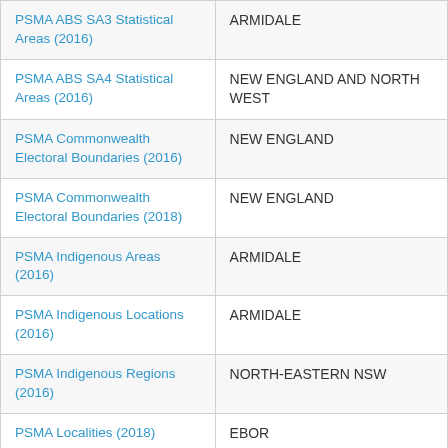| Layer | Value |
| --- | --- |
| PSMA ABS SA3 Statistical Areas (2016) | ARMIDALE |
| PSMA ABS SA4 Statistical Areas (2016) | NEW ENGLAND AND NORTH WEST |
| PSMA Commonwealth Electoral Boundaries (2016) | NEW ENGLAND |
| PSMA Commonwealth Electoral Boundaries (2018) | NEW ENGLAND |
| PSMA Indigenous Areas (2016) | ARMIDALE |
| PSMA Indigenous Locations (2016) | ARMIDALE |
| PSMA Indigenous Regions (2016) | NORTH-EASTERN NSW |
| PSMA Localities (2018) | EBOR |
| PSMA Remoteness Areas (2016) | Outer Regional Australia |
| PSMA Section of State (2016) | RURAL BALANCE |